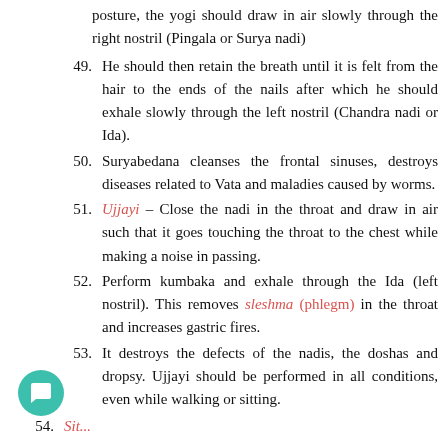posture, the yogi should draw in air slowly through the right nostril (Pingala or Surya nadi)
49. He should then retain the breath until it is felt from the hair to the ends of the nails after which he should exhale slowly through the left nostril (Chandra nadi or Ida).
50. Suryabedana cleanses the frontal sinuses, destroys diseases related to Vata and maladies caused by worms.
51. Ujjayi – Close the nadi in the throat and draw in air such that it goes touching the throat to the chest while making a noise in passing.
52. Perform kumbaka and exhale through the Ida (left nostril). This removes sleshma (phlegm) in the throat and increases gastric fires.
53. It destroys the defects of the nadis, the doshas and dropsy. Ujjayi should be performed in all conditions, even while walking or sitting.
54. Sit...